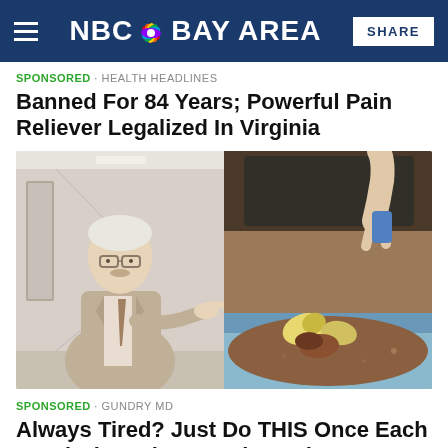NBC BAY AREA | SHARE
SPONSORED · HEALTH HEADLINES
Banned For 84 Years; Powerful Pain Reliever Legalized In Virginia
[Figure (photo): Left: older man in suit and tie with glasses pointing finger; Right: close-up of hands holding what appears to be supplement or food items over a bowl with soil]
SPONSORED · GUNDRY MD
Always Tired? Just Do THIS Once Each Day (Takes About 2 Minutes)